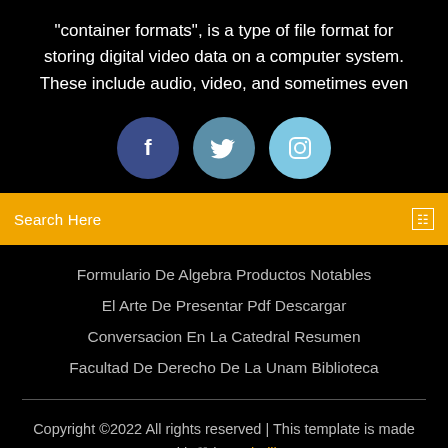“container formats”, is a type of file format for storing digital video data on a computer system. These include audio, video, and sometimes even
[Figure (illustration): Three circular social media icons in a row: Facebook (dark blue), Twitter (medium blue), Instagram (light blue)]
Search Here
Formulario De Algebra Productos Notables
El Arte De Presentar Pdf Descargar
Conversacion En La Catedral Resumen
Facultad De Derecho De La Unam Biblioteca
Copyright ©2022 All rights reserved | This template is made with ♡ by Colorlib